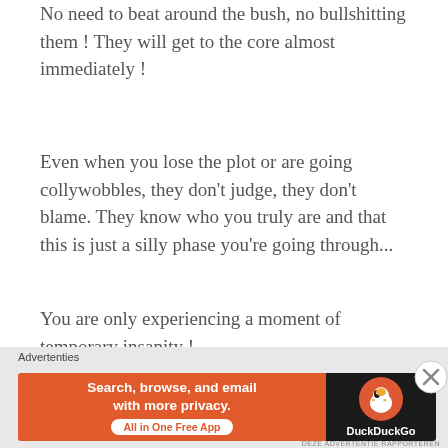No need to beat around the bush, no bullshitting them ! They will get to the core almost immediately !
Even when you lose the plot or are going collywobbles, they don't judge, they don't blame. They know who you truly are and that this is just a silly phase you're going through...
You are only experiencing a moment of temporary insanity !
Buddies believe !
[Figure (screenshot): DuckDuckGo advertisement banner with orange left section reading 'Search, browse, and email with more privacy. All in One Free App' and dark right section with DuckDuckGo duck logo and brand name. Labeled 'Advertenties' above.]